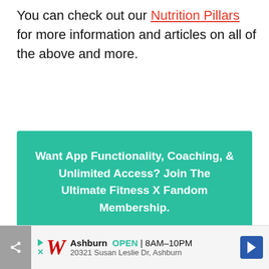You can check out our Nutrition Pillars for more information and articles on all of the above and more.
Want App Functionality, Coaching, & Unlimited Access? Join The Ultimate Fitness X Fandom Membership.
[Figure (other): Advertisement banner for Walgreens showing store location in Ashburn, open hours 8AM-10PM, address 20321 Susan Leslie Dr, Ashburn, with navigation icon]